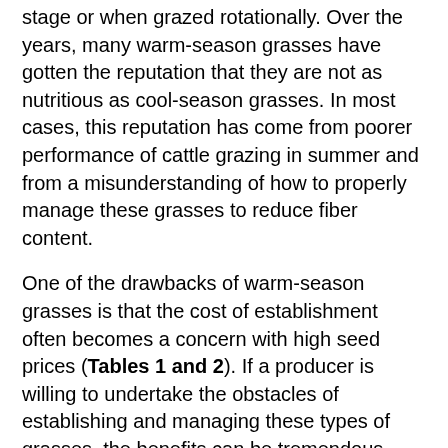stage or when grazed rotationally. Over the years, many warm-season grasses have gotten the reputation that they are not as nutritious as cool-season grasses. In most cases, this reputation has come from poorer performance of cattle grazing in summer and from a misunderstanding of how to properly manage these grasses to reduce fiber content.
One of the drawbacks of warm-season grasses is that the cost of establishment often becomes a concern with high seed prices (Tables 1 and 2). If a producer is willing to undertake the obstacles of establishing and managing these types of grasses, the benefits can be tremendous. Many perennial summer grasses can produce an average of 2–3 tons of forage per acre. With intensive management, bermudagrass and bahiagrass can produce much more (Figure 1). On average, you can expect to support one cow per acre during the summer months when using the proper rotational grazing